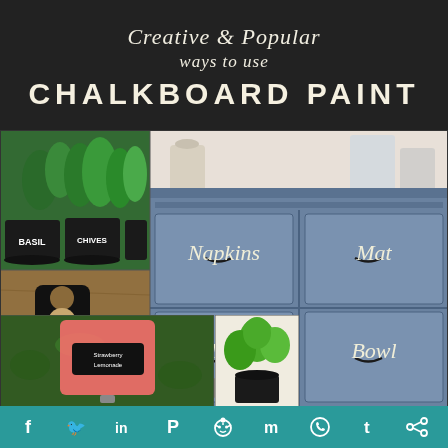Creative & Popular ways to use CHALKBOARD PAINT
[Figure (photo): Collage of chalkboard paint uses: herb pots labeled Basil and Chives, a door hanger saying Please Knock, a blue dresser with drawers labeled Napkins/Mats/Plates/Bowls, a drink dispenser with chalkboard label, and a plant in a chalkboard-painted pot]
f  t  in  P  reddit  m  WhatsApp  tumblr  share